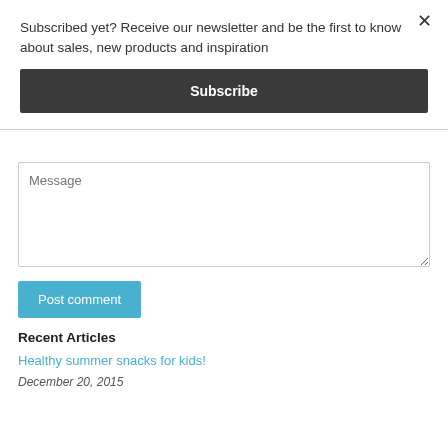Subscribed yet? Receive our newsletter and be the first to know about sales, new products and inspiration
Subscribe
Message
Post comment
Recent Articles
Healthy summer snacks for kids!
December 20, 2015